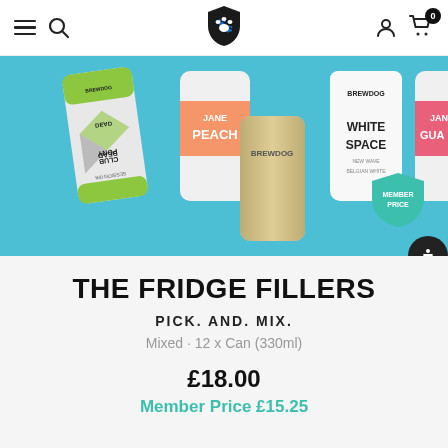Navigation bar with hamburger menu, search, BrewDog shield logo, user icon, cart (0)
[Figure (photo): Product image showing multiple BrewDog beer cans including Dead Pony Club Session IPA, Jane Peach, BrewDog White Space Belgian White, and Jane Guava against a teal/turquoise background. A green shield 'Member Price' badge is visible on the right.]
THE FRIDGE FILLERS
PICK. AND. MIX.
Mixed · 12 x Can (330ml)
£18.00
Member Price £15.25